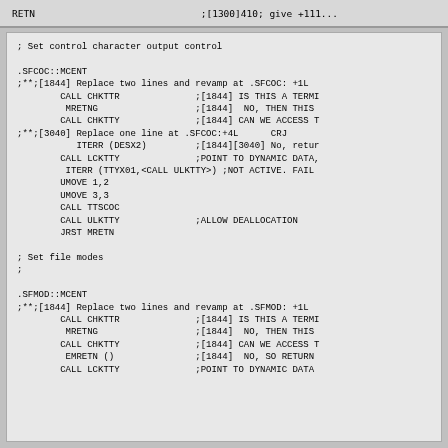RETN		;[1300]410; give +1110...
; Set control character output control

.SFCOC::MCENT
;**;[1844] Replace two lines and revamp at .SFCOC: +1L
		CALL CHKTTR			;[1844] IS THIS A TERMI
		 MRETNG				;[1844]  NO, THEN THIS 
		CALL CHKTTY			;[1844] CAN WE ACCESS T
;**;[3040] Replace one line at .SFCOC:+4L		CRJ
			ITERR (DESX2)		;[1844][3040] No, retur
		CALL LCKTTY			;POINT TO DYNAMIC DATA,
		 ITERR (TTYX01,<CALL ULKTTY>) ;NOT ACTIVE. FAIL
		UMOVE 1,2
		UMOVE 3,3
		CALL TTSCOC
		CALL ULKTTY			;ALLOW DEALLOCATION
		JRST MRETN

; Set file modes
;

.SFMOD::MCENT
;**;[1844] Replace two lines and revamp at .SFMOD: +1L
		CALL CHKTTR			;[1844] IS THIS A TERMI
		 MRETNG				;[1844]  NO, THEN THIS 
		CALL CHKTTY			;[1844] CAN WE ACCESS T
		 EMRETN ()			;[1844]  NO, SO RETURN
		CALL LCKTTY			;POINT TO DYNAMIC DATA